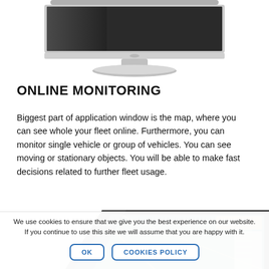[Figure (illustration): Top portion of a silver iMac-style desktop monitor showing the base and stand, cropped at top of page]
ONLINE MONITORING
Biggest part of application window is the map, where you can see whole your fleet online. Furthermore, you can monitor single vehicle or group of vehicles. You can see moving or stationary objects. You will be able to make fast decisions related to further fleet usage.
[Figure (screenshot): Bottom portion of a dark-framed laptop or monitor screen showing a map/fleet monitoring application interface, partially visible]
We use cookies to ensure that we give you the best experience on our website. If you continue to use this site we will assume that you are happy with it.